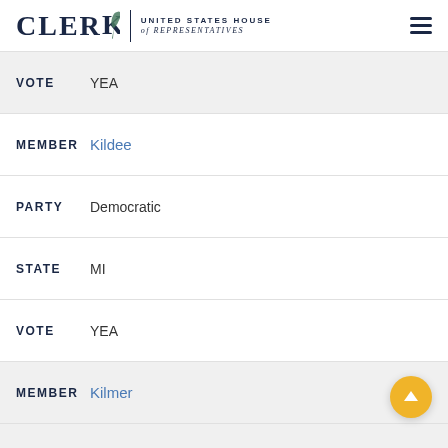CLERK UNITED STATES HOUSE of REPRESENTATIVES
VOTE YEA
MEMBER Kildee
PARTY Democratic
STATE MI
VOTE YEA
MEMBER Kilmer
PARTY Democratic
STATE WA